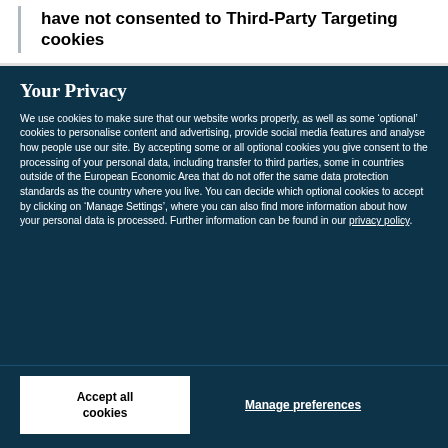have not consented to Third-Party Targeting cookies
Your Privacy
We use cookies to make sure that our website works properly, as well as some ‘optional’ cookies to personalise content and advertising, provide social media features and analyse how people use our site. By accepting some or all optional cookies you give consent to the processing of your personal data, including transfer to third parties, some in countries outside of the European Economic Area that do not offer the same data protection standards as the country where you live. You can decide which optional cookies to accept by clicking on ‘Manage Settings’, where you can also find more information about how your personal data is processed. Further information can be found in our privacy policy.
Accept all cookies
Manage preferences